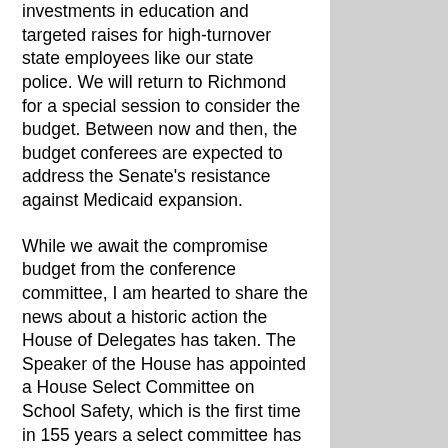investments in education and targeted raises for high-turnover state employees like our state police. We will return to Richmond for a special session to consider the budget. Between now and then, the budget conferees are expected to address the Senate's resistance against Medicaid expansion.
While we await the compromise budget from the conference committee, I am hearted to share the news about a historic action the House of Delegates has taken. The Speaker of the House has appointed a House Select Committee on School Safety, which is the first time in 155 years a select committee has been appointed in the Virginia House of Delegates. The Speaker has directed the scope of work to focus on our K-12 schools: strengthening emergency preparedness, hardening school security infrastructure, implementing security best practices, deploying additional security personnel, providing additional behavioral health resources for students, and developing